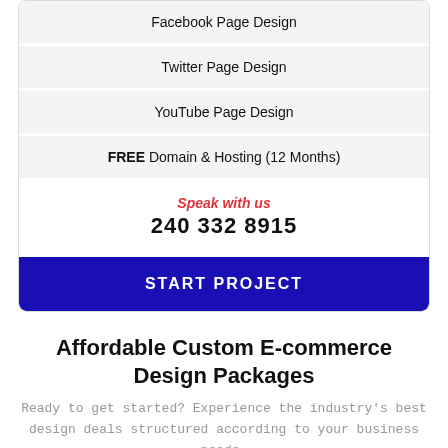Facebook Page Design
Twitter Page Design
YouTube Page Design
FREE Domain & Hosting (12 Months)
Speak with us
240 332 8915
START PROJECT
Affordable Custom E-commerce Design Packages
Ready to get started? Experience the industry's best design deals structured according to your business needs.